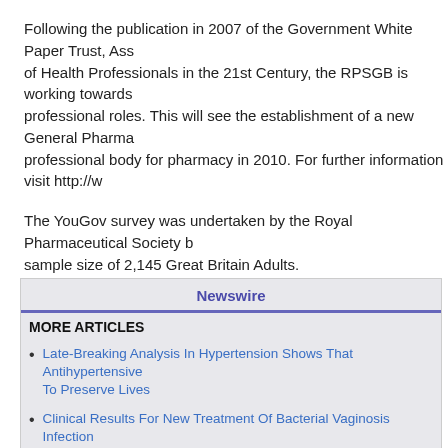Following the publication in 2007 of the Government White Paper Trust, Assurance and Safety - The Regulation of Health Professionals in the 21st Century, the RPSGB is working towards separating its regulatory and professional roles. This will see the establishment of a new General Pharmaceutical Council as the regulatory professional body for pharmacy in 2010. For further information visit http://w...
The YouGov survey was undertaken by the Royal Pharmaceutical Society b... sample size of 2,145 Great Britain Adults.
SOURCE: Royal Pharmaceutical Society of GB
For media enquiries please contact the Royal Pharmaceutical Society of Gr... +44(0)20-7572-2476 or michelle.hyland@rpsgb.org
Newswire
MORE ARTICLES
Late-Breaking Analysis In Hypertension Shows That Antihypertensive... To Preserve Lives
Clinical Results For New Treatment Of Bacterial Vaginosis Infection
88 Percent Of UK Doctors Believe Whiplash Claims Are Exaggerated...